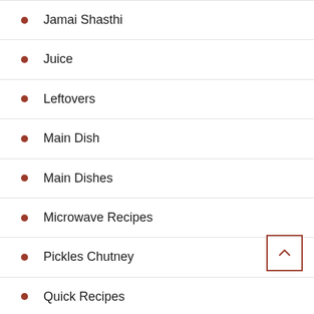Jamai Shasthi
Juice
Leftovers
Main Dish
Main Dishes
Microwave Recipes
Pickles Chutney
Quick Recipes